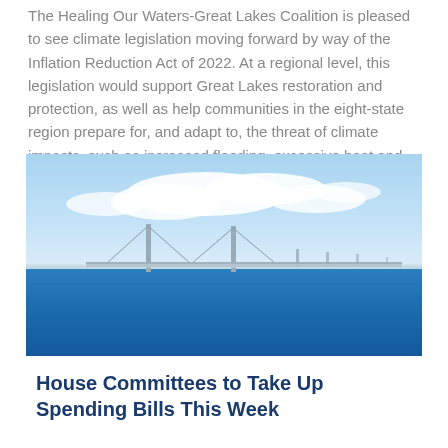The Healing Our Waters-Great Lakes Coalition is pleased to see climate legislation moving forward by way of the Inflation Reduction Act of 2022. At a regional level, this legislation would support Great Lakes restoration and protection, as well as help communities in the eight-state region prepare for, and adapt to, the threat of climate impacts, such as increased flooding, excessive heat and cold, and runoff pollution.
[Figure (photo): A suspension bridge (resembling the Mackinac Bridge) spanning a large body of bright blue water, with white clouds in the background and a clear blue sky above.]
House Committees to Take Up Spending Bills This Week